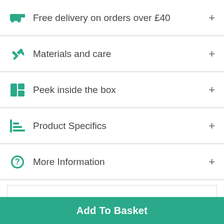Free delivery on orders over £40
Materials and care
Peek inside the box
Product Specifics
More Information
Customer Reviews
Based on 1 review
Add To Basket